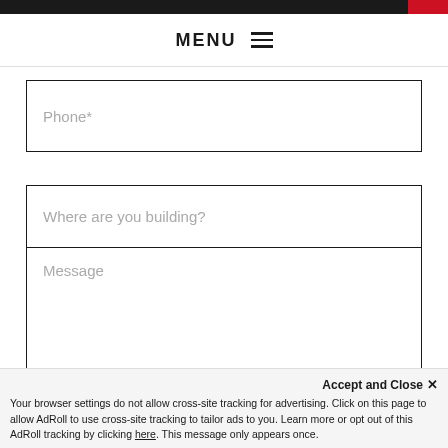MENU ≡
Phone*
Where are you building?
Message
Accept and Close ✕ Your browser settings do not allow cross-site tracking for advertising. Click on this page to allow AdRoll to use cross-site tracking to tailor ads to you. Learn more or opt out of this AdRoll tracking by clicking here. This message only appears once.